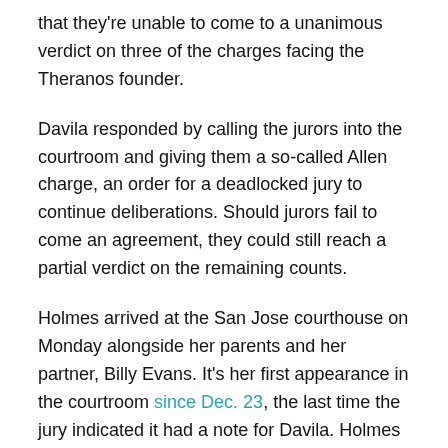that they're unable to come to a unanimous verdict on three of the charges facing the Theranos founder.
Davila responded by calling the jurors into the courtroom and giving them a so-called Allen charge, an order for a deadlocked jury to continue deliberations. Should jurors fail to come an agreement, they could still reach a partial verdict on the remaining counts.
Holmes arrived at the San Jose courthouse on Monday alongside her parents and her partner, Billy Evans. It's her first appearance in the courtroom since Dec. 23, the last time the jury indicated it had a note for Davila. Holmes is staying at a hotel across the street and only shows up in the courtroom now when a notice is posed for the judge.
The jury has been deliberating for about 46 hours over seven days. They were handed the case on Dec. 17, following a three-month trial that featured 32 witnesses, mostly called by the